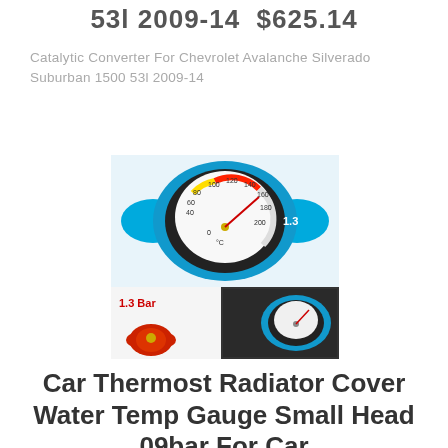53l 2009-14  $625.14
Catalytic Converter For Chevrolet Avalanche Silverado Suburban 1500 53l 2009-14
[Figure (photo): Product photo of a blue car thermostat radiator cover with water temperature gauge showing scale 0-200°C with 1.3 Bar label, alongside two smaller images showing the product from different angles installed on a vehicle.]
Car Thermost Radiator Cover Water Temp Gauge Small Head 09bar For Car